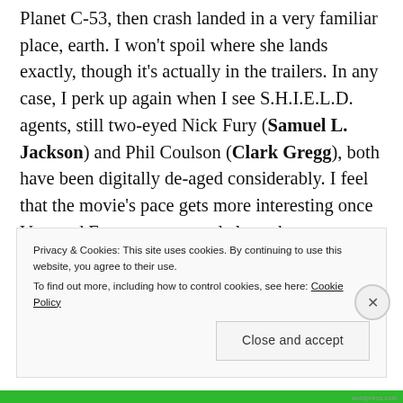Planet C-53, then crash landed in a very familiar place, earth. I won't spoil where she lands exactly, though it's actually in the trailers. In any case, I perk up again when I see S.H.I.E.L.D. agents, still two-eyed Nick Fury (Samuel L. Jackson) and Phil Coulson (Clark Gregg), both have been digitally de-aged considerably. I feel that the movie's pace gets more interesting once Vers and Fury team up, and along the way we meet Goose the cat. I
Privacy & Cookies: This site uses cookies. By continuing to use this website, you agree to their use. To find out more, including how to control cookies, see here: Cookie Policy
Close and accept